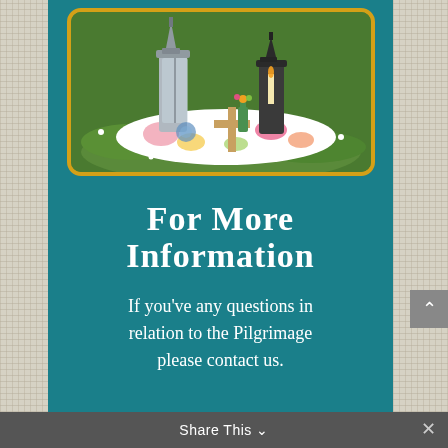[Figure (photo): Outdoor religious/pilgrimage scene on grass: two tall metallic lanterns, a wooden cross, colorful floral cloth/blanket, flowers, and candles arranged on green grass with daisies]
For More Information
If you've any questions in relation to the Pilgrimage please contact us.
Share This